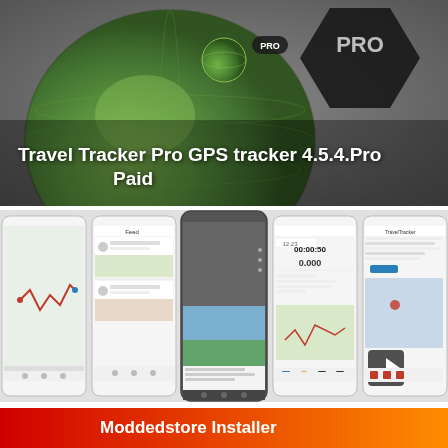[Figure (screenshot): Hero banner with blurred globe and dark PRO hexagon badge. White bold text overlay reads 'Travel Tracker Pro GPS tracker 4.5.4.Pro Paid']
Travel Tracker Pro GPS tracker 4.5.4.Pro Paid
[Figure (screenshot): Row of 5 smartphone app screenshots showing GPS map tracks, a social feed, a video/photo view, a tracking timer screen, and a map with history]
Moddedstore Installer